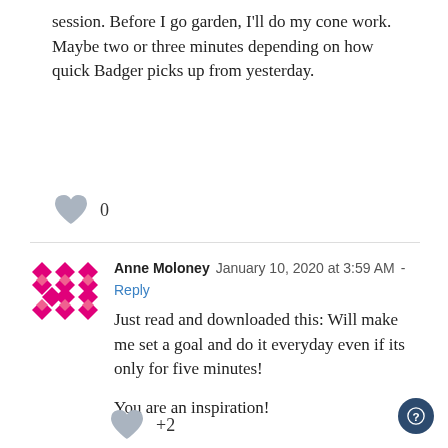session. Before I go garden, I'll do my cone work. Maybe two or three minutes depending on how quick Badger picks up from yesterday.
0
Anne Moloney  January 10, 2020 at 3:59 AM - Reply
Just read and downloaded this: Will make me set a goal and do it everyday even if its only for five minutes!

You are an inspiration!
+2